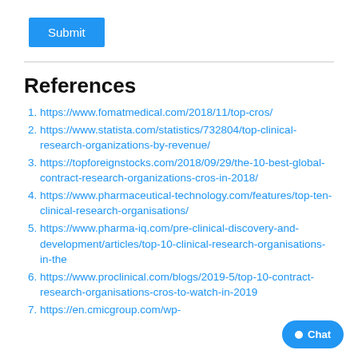[Figure (other): Blue 'Submit' button]
https://www.fomatmedical.com/2018/11/top-cros/
https://www.statista.com/statistics/732804/top-clinical-research-organizations-by-revenue/
https://topforeignstocks.com/2018/09/29/the-10-best-global-contract-research-organizations-cros-in-2018/
https://www.pharmaceutical-technology.com/features/top-ten-clinical-research-organisations/
https://www.pharma-iq.com/pre-clinical-discovery-and-development/articles/top-10-clinical-research-organisations-in-the
https://www.proclinical.com/blogs/2019-5/top-10-contract-research-organisations-cros-to-watch-in-2019
https://en.cmicgroup.com/wp-